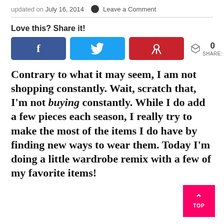updated on July 16, 2014 ● Leave a Comment
Love this? Share it!
[Figure (infographic): Three social share buttons: Facebook (blue), Twitter (light blue), Pinterest (red), plus a share count showing 0 SHARES]
Contrary to what it may seem, I am not shopping constantly. Wait, scratch that, I'm not buying constantly. While I do add a few pieces each season, I really try to make the most of the items I do have by finding new ways to wear them. Today I'm doing a little wardrobe remix with a few of my favorite items!